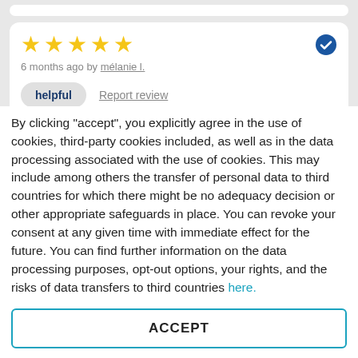[Figure (screenshot): Top stub of a review card (white rounded card, partially visible at top)]
★★★★★  (5 stars) — 6 months ago by mélanie l.
helpful   Report review
[Figure (screenshot): Second review card partially visible, showing 5 small stars and a badge icon]
By clicking "accept", you explicitly agree in the use of cookies, third-party cookies included, as well as in the data processing associated with the use of cookies. This may include among others the transfer of personal data to third countries for which there might be no adequacy decision or other appropriate safeguards in place. You can revoke your consent at any given time with immediate effect for the future. You can find further information on the data processing purposes, opt-out options, your rights, and the risks of data transfers to third countries here.
ACCEPT